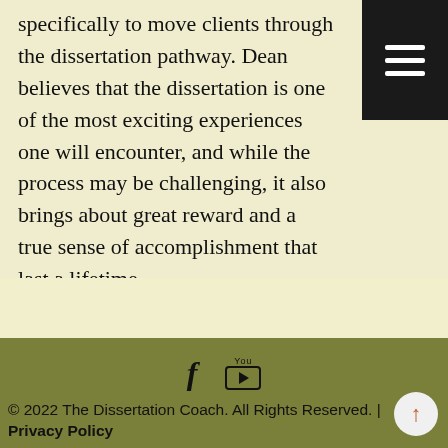specifically to move clients through the dissertation pathway. Dean believes that the dissertation is one of the most exciting experiences one will encounter, and while the process may be challenging, it also brings about great reward and a true sense of accomplishment that last a lifetime.
[Figure (other): Dark hamburger menu button (three horizontal white lines on black background) in top-right corner]
[Figure (other): Social media icons: Facebook (f) and YouTube (You/Tube box with play arrow) centered on olive-green footer]
© 2022 The Dissertation Coach. All Rights Reserved. | Privacy Policy